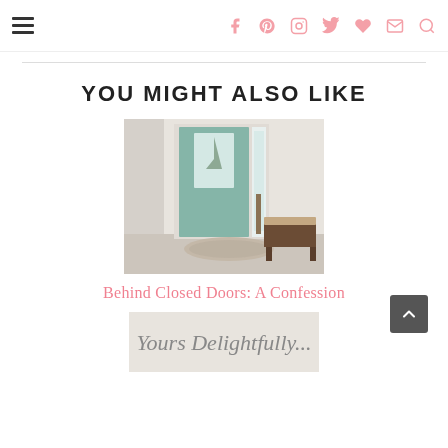Navigation header with hamburger menu and social icons (f, Pinterest, Instagram, Twitter, heart, mail, search)
YOU MIGHT ALSO LIKE
[Figure (photo): Interior entryway photo showing a sage green front door with sidelight window, a woven rug on tile floor, and a wooden bench with cushion against the right wall.]
Behind Closed Doors: A Confession
[Figure (photo): Cursive signature text reading 'Yours Delightfully...' on a light beige/grey background.]